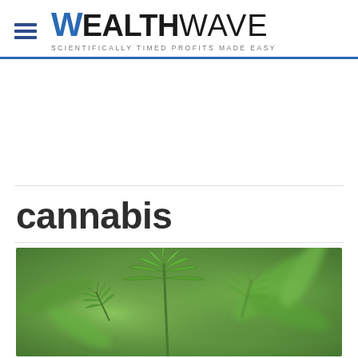WEALTHWAVE — SCIENTIFICALLY TIMED PROFITS MADE EASY
cannabis
[Figure (photo): Close-up photo of green cannabis plant leaves with blurred background]